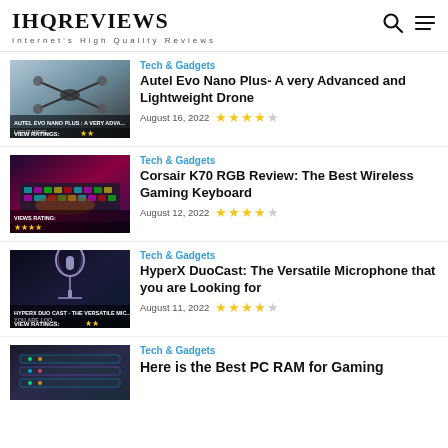IHQREVIEWS — Internet's High Quality Reviews
Tech & Gadgets
Autel Evo Nano Plus- A very Advanced and Lightweight Drone
August 16, 2022  ★★★★☆
Tech & Gadgets
Corsair K70 RGB Review: The Best Wireless Gaming Keyboard
August 12, 2022  ★★★★☆
Tech & Gadgets
HyperX DuoCast: The Versatile Microphone that you are Looking for
August 11, 2022  ★★★★☆
Tech & Gadgets
Here is the Best PC RAM for Gaming